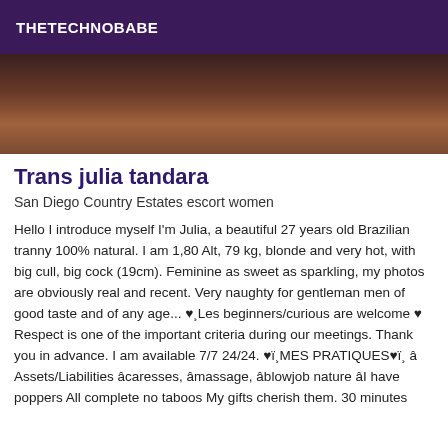THETECHNOBABE
[Figure (photo): Close-up photo of a person, dimly lit, brownish tones]
Trans julia tandara
San Diego Country Estates escort women
Hello I introduce myself I'm Julia, a beautiful 27 years old Brazilian tranny 100% natural. I am 1,80 Alt, 79 kg, blonde and very hot, with big cull, big cock (19cm). Feminine as sweet as sparkling, my photos are obviously real and recent. Very naughty for gentleman men of good taste and of any age... ♥¸Les beginners/curious are welcome ♥ Respect is one of the important criteria during our meetings. Thank you in advance. I am available 7/7 24/24. ♥ï¸MES PRATIQUES♥ï¸ â Assets/Liabilities âcaresses, âmassage, âblowjob nature âI have poppers All complete no taboos My gifts cherish them. 30 minutes